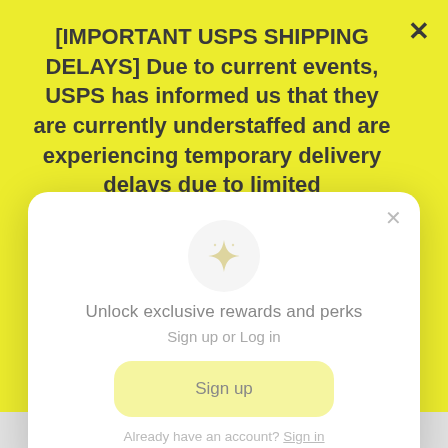[IMPORTANT USPS SHIPPING DELAYS] Due to current events, USPS has informed us that they are currently understaffed and are experiencing temporary delivery delays due to limited transportation availability. As such, packages may not be consistently scanned during transit and it may take an extended amount of time for the tracking status to update. We apologize for
[Figure (screenshot): Modal popup with sparkle icon, 'Unlock exclusive rewards and perks' heading, 'Sign up or Log in' subtitle, a light yellow 'Sign up' button, and 'Already have an account? Sign in' footer link. Close X button in top right of modal.]
$22.99